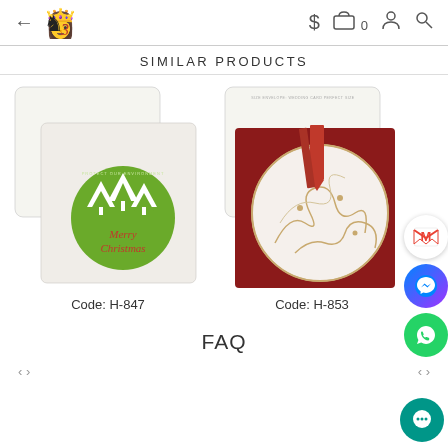Navigation bar with back arrow, logo, dollar sign, cart (0), user icon, search icon
SIMILAR PRODUCTS
[Figure (photo): Christmas greeting card product - H-847, white envelope with green circle Merry Christmas design with pine trees]
Code: H-847
[Figure (photo): Christmas greeting card product - H-853, red card with white circular ornamental design and red ribbon bookmark]
Code: H-853
FAQ
Partial bottom content (cut off)